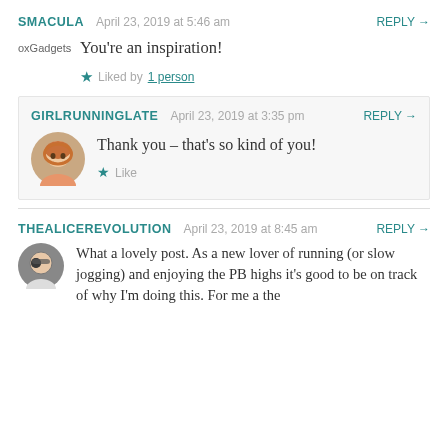SMACULA   April 23, 2019 at 5:46 am   REPLY →
oxGadgets
You're an inspiration!
★ Liked by 1 person
GIRLRUNNINGLATE   April 23, 2019 at 3:35 pm   REPLY →
Thank you – that's so kind of you!
★ Like
THEALICEREVOLUTION   April 23, 2019 at 8:45 am   REPLY →
What a lovely post. As a new lover of running (or slow jogging) and enjoying the PB highs it's good to be on track of why I'm doing this. For me a the